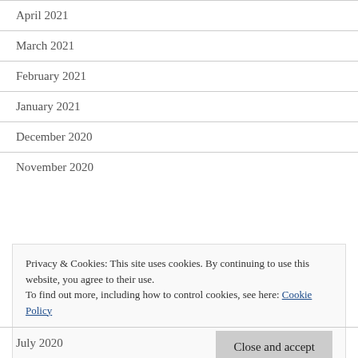April 2021
March 2021
February 2021
January 2021
December 2020
November 2020
Privacy & Cookies: This site uses cookies. By continuing to use this website, you agree to their use. To find out more, including how to control cookies, see here: Cookie Policy
July 2020